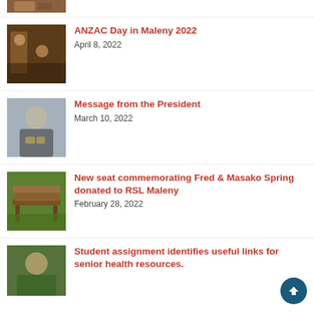[Figure (photo): Partial thumbnail of a photo at the top of the page (cropped)]
[Figure (photo): Photo of people at an ANZAC Day ceremony in Maleny, indoor setting with warm lighting]
ANZAC Day in Maleny 2022
April 8, 2022
[Figure (photo): Portrait photo of an elderly man wearing medals on a suit jacket, gray background]
Message from the President
March 10, 2022
[Figure (photo): Photo of a wooden bench outdoors in a garden setting]
New seat commemorating Fred & Masako Spring donated to RSL Maleny
February 28, 2022
[Figure (photo): Photo of an elderly man smiling outdoors among trees, wearing a blue shirt]
Student assignment identifies useful links for senior health resources.